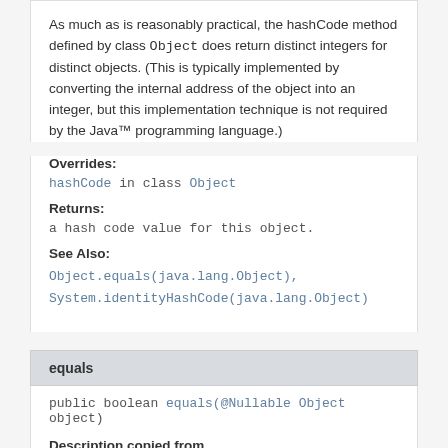As much as is reasonably practical, the hashCode method defined by class Object does return distinct integers for distinct objects. (This is typically implemented by converting the internal address of the object into an integer, but this implementation technique is not required by the Java™ programming language.)
Overrides:
hashCode in class Object
Returns:
a hash code value for this object.
See Also:
Object.equals(java.lang.Object), System.identityHashCode(java.lang.Object)
equals
public boolean equals(@Nullable Object object)
Description copied from